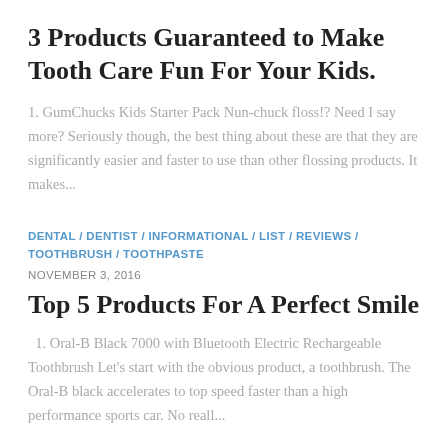3 Products Guaranteed to Make Tooth Care Fun For Your Kids.
1. GumChucks Kids Starter Pack Nun-chuck floss!? Need I say more? Seriously though, the best thing about these are that they are significantly easier and faster to use than other flossing products. It makes...
DENTAL / DENTIST / INFORMATIONAL / LIST / REVIEWS / TOOTHBRUSH / TOOTHPASTE
NOVEMBER 3, 2016
Top 5 Products For A Perfect Smile
1. Oral-B Black 7000 with Bluetooth Electric Rechargeable Toothbrush Let's start with the obvious product, a toothbrush. The Oral-B black accelerates to top speed faster than a high performance sports car. No reall...